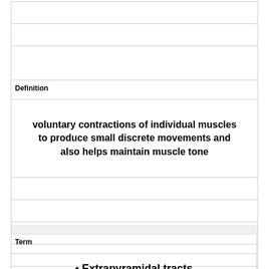Definition
voluntary contractions of individual muscles to produce small discrete movements and also helps maintain muscle tone
Term
Extrapyramidal tracts